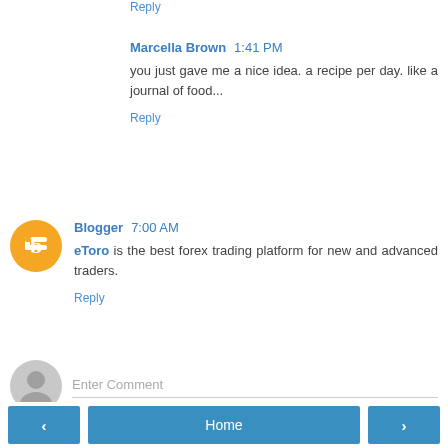Reply
Marcella Brown  1:41 PM
you just gave me a nice idea. a recipe per day. like a journal of food...
Reply
Blogger  7:00 AM
eToro is the best forex trading platform for new and advanced traders.
Reply
Enter Comment
< Home >